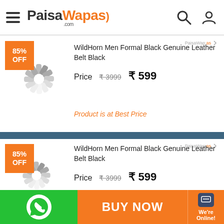PaisaWapas.com
85% OFF
WildHorn Men Formal Black Genuine Leather Belt Black
Price  ₹3999  ₹599
Product is at Best Price
BUY NOW
85% OFF
WildHorn Men Formal Black Genuine Leather Belt Black
Price  ₹3999  ₹599
BUY NOW  We're Online!